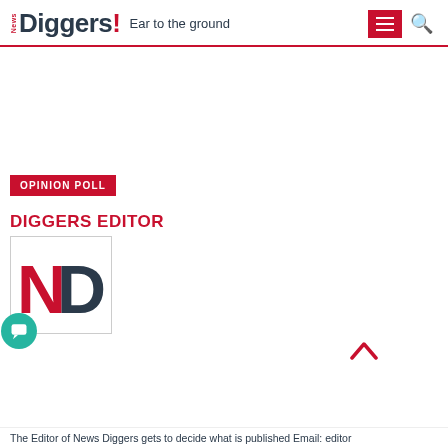News Diggers! Ear to the ground
[Figure (logo): News Diggers logo with red exclamation mark and tagline 'Ear to the ground', with red hamburger menu button and search icon]
OPINION POLL
DIGGERS EDITOR
[Figure (logo): News Diggers ND logo — red N and dark D letters in a square box. Chat bubble icon overlay in teal.]
The Editor of News Diggers gets to decide what is published Email: editor